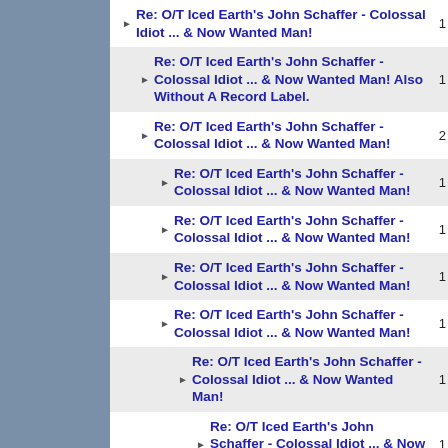Re: O/T Iced Earth's John Schaffer - Colossal Idiot ... & Now Wanted Man!
Re: O/T Iced Earth's John Schaffer - Colossal Idiot ... & Now Wanted Man! Also Without A Record Label.
Re: O/T Iced Earth's John Schaffer - Colossal Idiot ... & Now Wanted Man!
Re: O/T Iced Earth's John Schaffer - Colossal Idiot ... & Now Wanted Man!
Re: O/T Iced Earth's John Schaffer - Colossal Idiot ... & Now Wanted Man!
Re: O/T Iced Earth's John Schaffer - Colossal Idiot ... & Now Wanted Man!
Re: O/T Iced Earth's John Schaffer - Colossal Idiot ... & Now Wanted Man!
Re: O/T Iced Earth's John Schaffer - Colossal Idiot ... & Now Wanted Man!
Re: O/T Iced Earth's John Schaffer - Colossal Idiot ... & Now Wanted Man!
Re: O/T Iced Earth's John Schaffer - Colossal Idiot ... & Now Wanted Man!